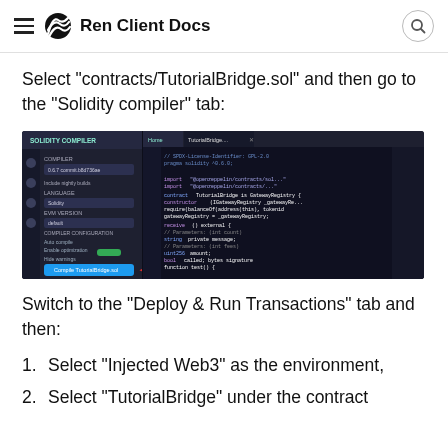Ren Client Docs
Select "contracts/TutorialBridge.sol" and then go to the "Solidity compiler" tab:
[Figure (screenshot): Screenshot of the Remix IDE showing the Solidity Compiler panel on the left and a Solidity smart contract file (TutorialBridge.sol) open in the editor. A red arrow points to a blue 'Compile TutorialBridge.sol' button at the bottom left of the compiler panel.]
Switch to the "Deploy & Run Transactions" tab and then:
Select "Injected Web3" as the environment,
Select "TutorialBridge" under the contract